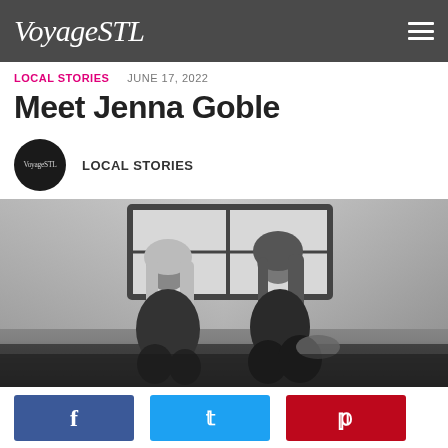VoyageSTL
LOCAL STORIES   JUNE 17, 2022
Meet Jenna Goble
LOCAL STORIES
[Figure (photo): Black and white photo of two women sitting and smiling, inside a studio with brick walls and a window in the background]
Social share buttons: Facebook, Twitter, Pinterest